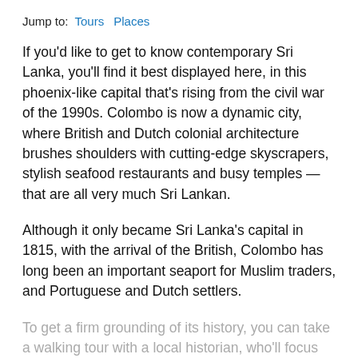Jump to:   Tours   Places
If you'd like to get to know contemporary Sri Lanka, you'll find it best displayed here, in this phoenix-like capital that's rising from the civil war of the 1990s. Colombo is now a dynamic city, where British and Dutch colonial architecture brushes shoulders with cutting-edge skyscrapers, stylish seafood restaurants and busy temples — that are all very much Sri Lankan.
Although it only became Sri Lanka's capital in 1815, with the arrival of the British, Colombo has long been an important seaport for Muslim traders, and Portuguese and Dutch settlers.
To get a firm grounding of its history, you can take a walking tour with a local historian, who'll focus on the